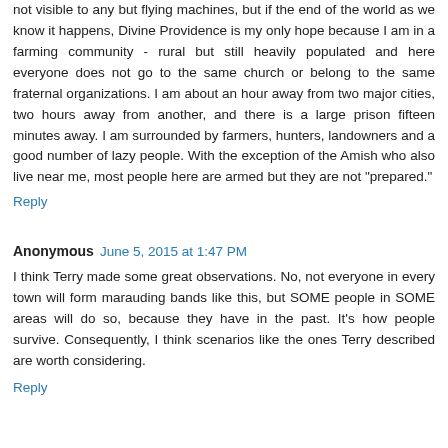not visible to any but flying machines, but if the end of the world as we know it happens, Divine Providence is my only hope because I am in a farming community - rural but still heavily populated and here everyone does not go to the same church or belong to the same fraternal organizations. I am about an hour away from two major cities, two hours away from another, and there is a large prison fifteen minutes away. I am surrounded by farmers, hunters, landowners and a good number of lazy people. With the exception of the Amish who also live near me, most people here are armed but they are not "prepared."
Reply
Anonymous  June 5, 2015 at 1:47 PM
I think Terry made some great observations. No, not everyone in every town will form marauding bands like this, but SOME people in SOME areas will do so, because they have in the past. It's how people survive. Consequently, I think scenarios like the ones Terry described are worth considering.
Reply